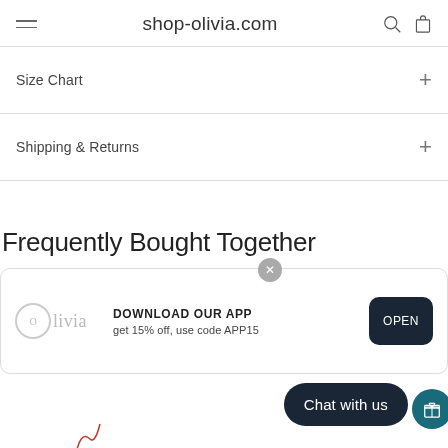shop-olivia.com
Size Chart
Shipping & Returns
Frequently Bought Together
[Figure (screenshot): App download banner with Olivia logo, text 'DOWNLOAD OUR APP get 15% off, use code APP15', an OPEN button, a close X button, and a 'Chat with us' overlay button.]